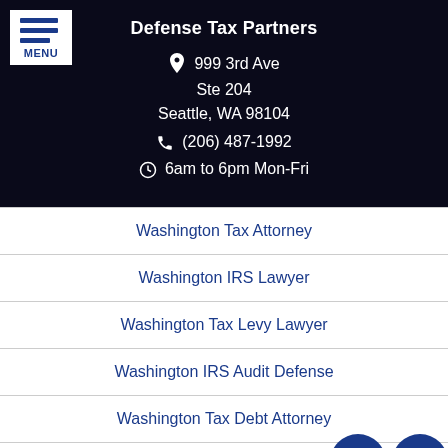Defense Tax Partners
999 3rd Ave
Ste 204
Seattle, WA 98104
(206) 487-1992
6am to 6pm Mon-Fri
Washington Tax Attorney
Washington IRS Lawyer
Washington Tax Levy Lawyer
Washington IRS Audit Defense
Washington Tax Debt Attorney
Washington IRS Tax Settlement